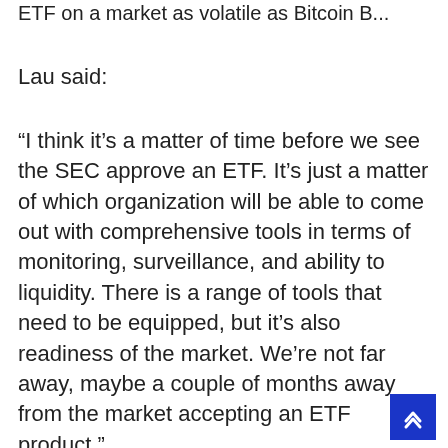ETF on a market as volatile as Bitcoin B...
Lau said:
“I think it’s a matter of time before we see the SEC approve an ETF. It’s just a matter of which organization will be able to come out with comprehensive tools in terms of monitoring, surveillance, and ability to liquidity. There is a range of tools that need to be equipped, but it’s also readiness of the market. We’re not far away, maybe a couple of months away from the market accepting an ETF product.”